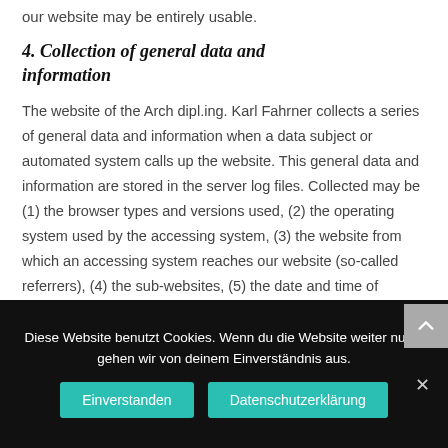our website may be entirely usable.
4. Collection of general data and information
The website of the Arch dipl.ing. Karl Fahrner collects a series of general data and information when a data subject or automated system calls up the website. This general data and information are stored in the server log files. Collected may be (1) the browser types and versions used, (2) the operating system used by the accessing system, (3) the website from which an accessing system reaches our website (so-called referrers), (4) the sub-websites, (5) the date and time of access to the Internet site, (6) an Internet protocol address (IP address), (7) the Internet service provider of
Diese Website benutzt Cookies. Wenn du die Website weiter nutzt, gehen wir von deinem Einverständnis aus.
Einverstanden
Datenschutzerklärung